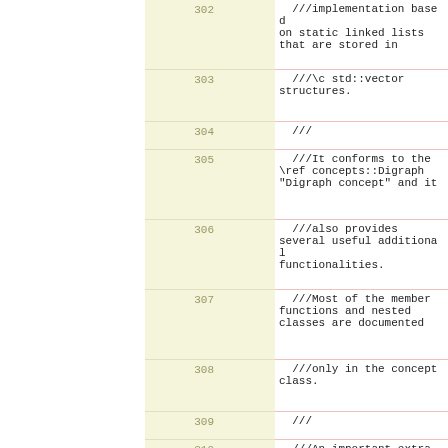| line |  | code |
| --- | --- | --- |
| 302 |  | ///implementation based
on static linked lists
that are stored in |
| 303 |  |   ///\c std::vector
structures. |
| 304 |  |   /// |
| 305 |  |   ///It conforms to the
\ref concepts::Digraph
"Digraph concept" and it |
| 306 |  |   ///also provides
several useful additional
functionalities. |
| 307 |  |   ///Most of the member
functions and nested
classes are documented |
| 308 |  |   ///only in the concept
class. |
| 309 |  |   /// |
| 310 |  |   ///An important extra
feature of this digraph
implementation is that |
| 311 |  |   ///its maps are real
\ref
concepts::ReferenceMap
"reference map"s. |
| 312 |  |   /// |
| 313 |  |   ///\sa
concepts::Digraph |
| 314 |  |  |
| 315 |  |   class ListDigraph :
public
ExtendedListDigraphBase { |
| 316 |  |     private: |
| 317 |  |       ///ListDigraph is \e
not copy constructible. |